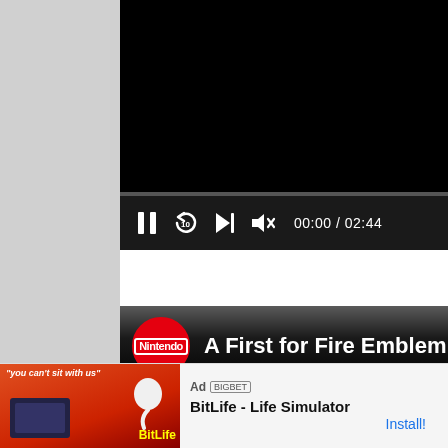[Figure (screenshot): Video player (top) showing black screen with progress bar and playback controls: pause button, replay-10 button, skip-next button, mute button, time display 00:00 / 02:44]
[Figure (screenshot): YouTube video card showing Nintendo channel logo (red circle with Nintendo text) and video title 'A First for Fire Emblem Fans! - ??? Annu...' on black background with up arrow and pixel art element]
[Figure (screenshot): Ad banner at bottom: Ad label, BitLife game ad image on left, 'BitLife - Life Simulator' title text, and 'Install!' call to action link on right]